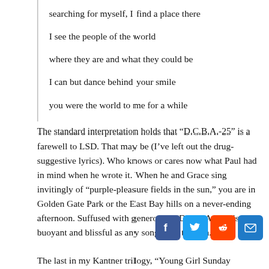searching for myself, I find a place there
I see the people of the world
where they are and what they could be
I can but dance behind your smile
you were the world to me for a while
The standard interpretation holds that “D.C.B.A.-25” is a farewell to LSD. That may be (I’ve left out the drug-suggestive lyrics). Who knows or cares now what Paul had in mind when he wrote it. When he and Grace sing invitingly of “purple-pleasure fields in the sun,” you are in Golden Gate Park or the East Bay hills on a never-ending afternoon. Suffused with generosity, “D.C.B.A.-25” is as buoyant and blissful as any song from that era.
The last in my Kantner trilogy, “Young Girl Sunday